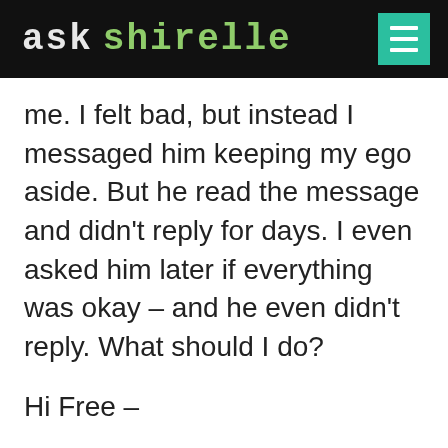ask Shirelle
me. I felt bad, but instead I messaged him keeping my ego aside. But he read the message and didn’t reply for days. I even asked him later if everything was okay – and he even didn’t reply. What should I do?
Hi Free –